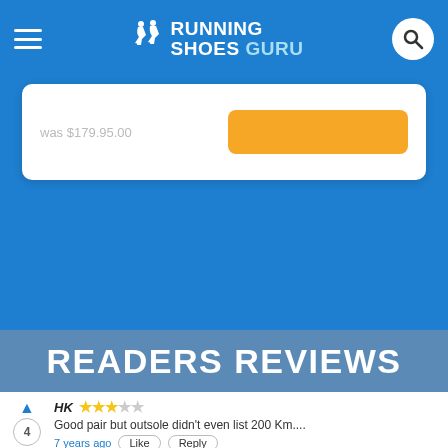RUNNING SHOES GURU
was $179.95.00
READERS REVIEWS
HK ★★★☆☆  Good pair but outsole didn't even list 200 Km.... 7 years ago  Like  Reply
Samantha  Hi Daniel